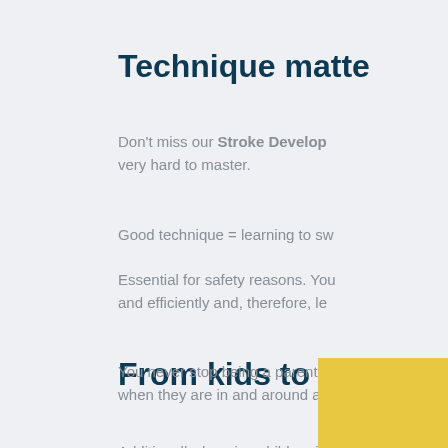Technique matte
Don't miss our Stroke Develop... very hard to master.
Good technique = learning to sw
Essential for safety reasons. You and efficiently and, therefore, le
From kids to adu
Additionally, keeping children in little older and/or more mature important it is to respect the wa
You never stop being a parent when they are in and around a